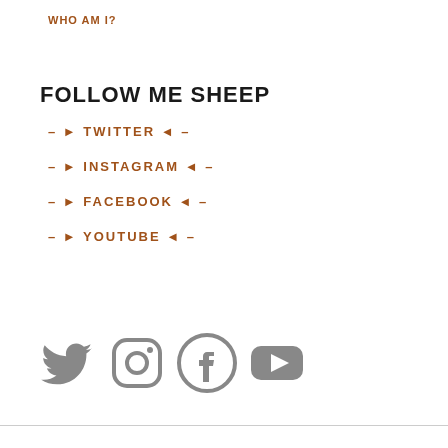WHO AM I?
FOLLOW ME SHEEP
– ▶ TWITTER ◀ –
– ▶ INSTAGRAM ◀ –
– ▶ FACEBOOK ◀ –
– ▶ YOUTUBE ◀ –
[Figure (illustration): Four social media icons in gray: Twitter bird, Instagram camera, Facebook f-circle, YouTube play button]